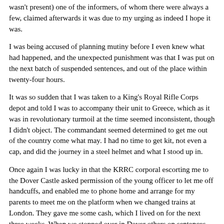wasn't present) one of the informers, of whom there were always a few, claimed afterwards it was due to my urging as indeed I hope it was.
I was being accused of planning mutiny before I even knew what had happened, and the unexpected punishment was that I was put on the next batch of suspended sentences, and out of the place within twenty-four hours.
It was so sudden that I was taken to a King's Royal Rifle Corps depot and told I was to accompany their unit to Greece, which as it was in revolutionary turmoil at the time seemed inconsistent, though I didn't object. The commandant seemed determined to get me out of the country come what may. I had no time to get kit, not even a cap, and did the journey in a steel helmet and what I stood up in.
Once again I was lucky in that the KRRC corporal escorting me to the Dover Castle asked permission of the young officer to let me off handcuffs, and enabled me to phone home and arrange for my parents to meet me on the platform when we changed trains at London. They gave me some cash, which I lived on for the next three weeks. When we stopped over in Dover others on sentences, only suspended once at sea, arrived in handcuffs and were locked up for the night. They had no money and no pay day for three weeks. I however could go out for a drink with the KRRC. Once